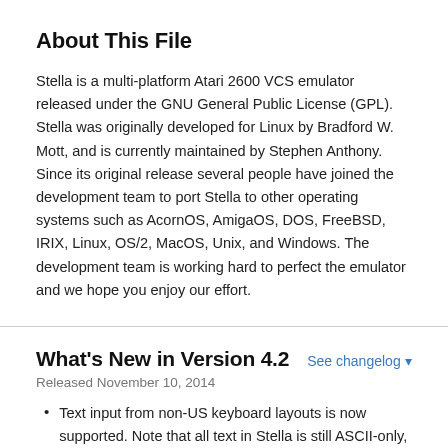About This File
Stella is a multi-platform Atari 2600 VCS emulator released under the GNU General Public License (GPL). Stella was originally developed for Linux by Bradford W. Mott, and is currently maintained by Stephen Anthony. Since its original release several people have joined the development team to port Stella to other operating systems such as AcornOS, AmigaOS, DOS, FreeBSD, IRIX, Linux, OS/2, MacOS, Unix, and Windows. The development team is working hard to perfect the emulator and we hope you enjoy our effort.
What's New in Version 4.2
Released November 10, 2014
Text input from non-US keyboard layouts is now supported. Note that all text in Stella is still ASCII-only,